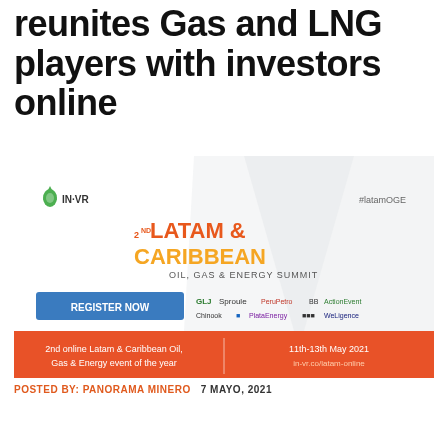reunites Gas and LNG players with investors online
[Figure (illustration): 2nd Latam & Caribbean Oil, Gas & Energy Summit promotional banner with IN-VR logo, sponsor logos (GLJ, Sproule, PeruPetro, Chinook, etc.), Register Now button, event dates 11th-13th May 2021 and URL in-vr.co/latam-online, red footer bar with event tagline.]
POSTED BY: PANORAMA MINERO   7 MAYO, 2021
Following the massive success of the original Latam & Caribbean Oil, Gas & Energy Summit,  largest online oil & gas summit ever organised for the region, hundreds of EPs...